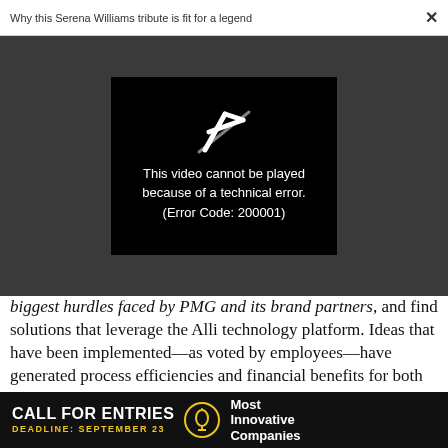Why this Serena Williams tribute is fit for a legend  ×
[Figure (screenshot): Video player showing error: 'This video cannot be played because of a technical error. (Error Code: 200001)' on dark grey background with black video box and white broken play icon]
biggest hurdles faced by PMG and its brand partners, and find solutions that leverage the Alli technology platform. Ideas that have been implemented—as voted by employees—have generated process efficiencies and financial benefits for both PMG and its clients.
[Figure (infographic): Advertisement banner: CALL FOR ENTRIES — DEADLINE: SEPTEMBER 23 — Most Innovative Companies]